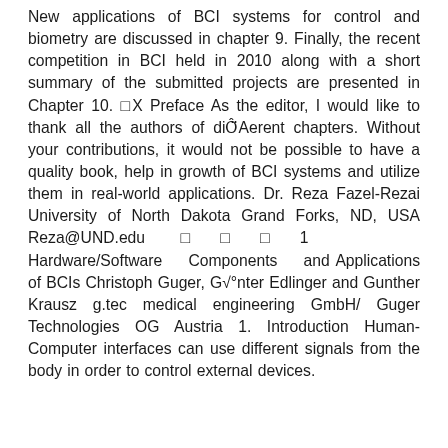New applications of BCI systems for control and biometry are discussed in chapter 9. Finally, the recent competition in BCI held in 2010 along with a short summary of the submitted projects are presented in Chapter 10. □X Preface As the editor, I would like to thank all the authors of diÔ¨Aerent chapters. Without your contributions, it would not be possible to have a quality book, help in growth of BCI systems and utilize them in real-world applications. Dr. Reza Fazel-Rezai University of North Dakota Grand Forks, ND, USA Reza@UND.edu □□□1 Hardware/Software Components and Applications of BCIs Christoph Guger, G√°nter Edlinger and Gunther Krausz g.tec medical engineering GmbH/ Guger Technologies OG Austria 1. Introduction Human-Computer interfaces can use different signals from the body in order to control external devices.